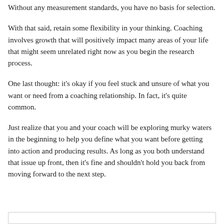Without any measurement standards, you have no basis for selection.
With that said, retain some flexibility in your thinking. Coaching involves growth that will positively impact many areas of your life that might seem unrelated right now as you begin the research process.
One last thought: it's okay if you feel stuck and unsure of what you want or need from a coaching relationship. In fact, it's quite common.
Just realize that you and your coach will be exploring murky waters in the beginning to help you define what you want before getting into action and producing results. As long as you both understand that issue up front, then it's fine and shouldn't hold you back from moving forward to the next step.